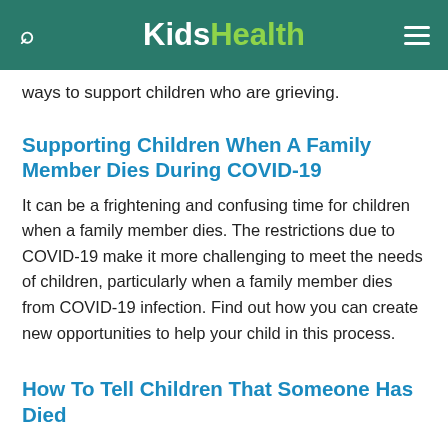KidsHealth
ways to support children who are grieving.
Supporting Children When A Family Member Dies During COVID-19
It can be a frightening and confusing time for children when a family member dies. The restrictions due to COVID-19 make it more challenging to meet the needs of children, particularly when a family member dies from COVID-19 infection. Find out how you can create new opportunities to help your child in this process.
How To Tell Children That Someone Has Died